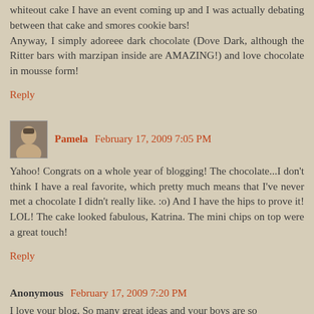whiteout cake I have an event coming up and I was actually debating between that cake and smores cookie bars! Anyway, I simply adoreee dark chocolate (Dove Dark, although the Ritter bars with marzipan inside are AMAZING!) and love chocolate in mousse form!
Reply
Pamela February 17, 2009 7:05 PM
Yahoo! Congrats on a whole year of blogging! The chocolate...I don't think I have a real favorite, which pretty much means that I've never met a chocolate I didn't really like. :o) And I have the hips to prove it! LOL! The cake looked fabulous, Katrina. The mini chips on top were a great touch!
Reply
Anonymous February 17, 2009 7:20 PM
I love your blog. So many great ideas and your boys are so